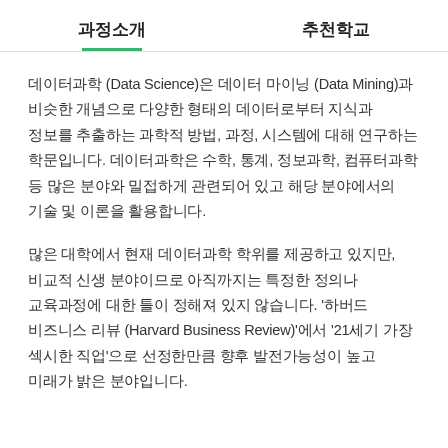과정소개	추천학교
데이터과학 (Data Science)은 데이터 마이닝 (Data Mining)과 비슷한 개념으로 다양한 형태의 데이터로부터 지식과 정보를 추출하는 과학적 방법, 과정, 시스템에 대해 연구하는 학문입니다. 데이터과학은 수학, 통계, 정보과학, 컴퓨터과학 등 많은 분야와 밀접하게 관련되어 있고 해당 분야에서의 기술 및 이론을 활용합니다.
많은 대학에서 현재 데이터과학 학위를 제공하고 있지만, 비교적 신생 분야이므로 아직까지는 특정한 정의나 교육과정에 대한 틀이 정해져 있지 않습니다. '하버드 비즈니스 리뷰 (Harvard Business Review)'에서 '21세기 가장 섹시한 직업'으로 선정한만큼 향후 발전가능성이 높고 미래가 밝은 분야입니다.